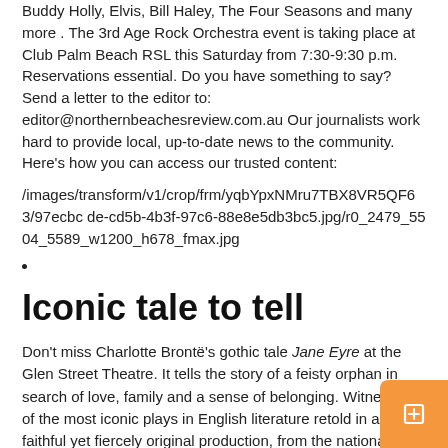Buddy Holly, Elvis, Bill Haley, The Four Seasons and many more . The 3rd Age Rock Orchestra event is taking place at Club Palm Beach RSL this Saturday from 7:30-9:30 p.m. Reservations essential. Do you have something to say? Send a letter to the editor to: editor@northernbeachesreview.com.au Our journalists work hard to provide local, up-to-date news to the community. Here’s how you can access our trusted content:
/images/transform/v1/crop/frm/yqbYpxNMru7TBX8VR5QF63/97ecbcde-cd5b-4b3f-97c6-88e8e5db3bc5.jpg/r0_2479_5504_5589_w1200_h678_fmax.jpg
Iconic tale to tell
Don’t miss Charlotte Brontë’s gothic tale Jane Eyre at the Glen Street Theatre. It tells the story of a feisty orphan in search of love, family and a sense of belonging. Witness one of the most iconic plays in English literature retold in a faithful yet fiercely original production, from the nationally acclaimed Shak & Stir theater company. Includes